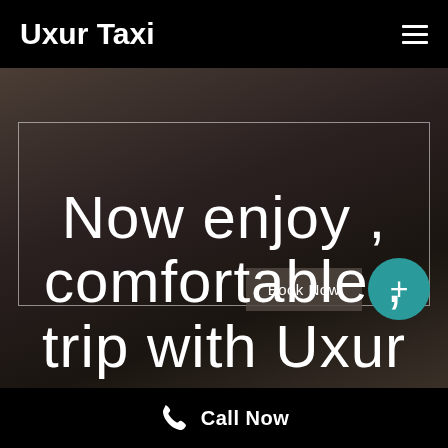Uxur Taxi
[Figure (screenshot): Hero background image showing blurred dark interior scene, with a search/input box outline, a 'Book Now' button and a teal '+' circular button]
Now enjoy , comfortable , trip with Uxur
Call Now